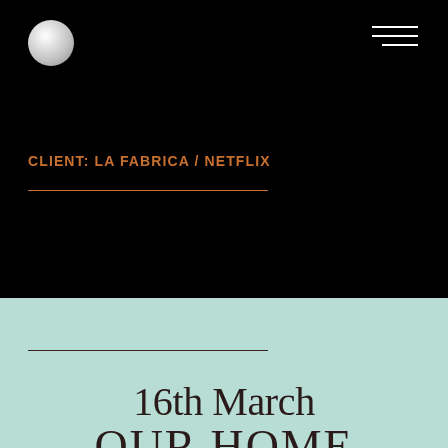[Figure (logo): White/silver glossy sphere logo in top left corner]
[Figure (illustration): Hamburger menu icon (three horizontal white lines) in top right corner]
CLIENT: LA FABRICA / NETFLIX
16th March
OUR HOME